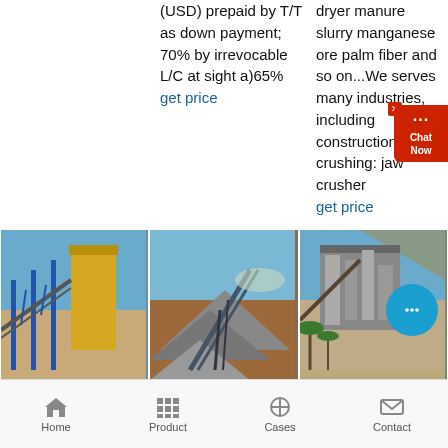(USD) prepaid by T/T as down payment; 70% by irrevocable L/C at sight a)65%
get price
dryer manure slurry manganese ore palm fiber and so on...We serves many industries, including construction crushing: jaw crusher
get price
[Figure (photo): Industrial conveyor belt system with blue steel frame and yellow silos at a mining/construction site]
[Figure (photo): Conveyor belt with piles of crushed aggregate/gravel at an open-air quarry site]
[Figure (photo): Large industrial crushing plant with multi-level structure, palm trees in foreground]
Home  Product  Cases  Contact